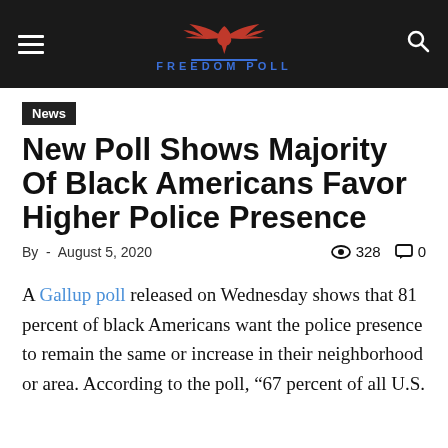FREEDOM POLL
News
New Poll Shows Majority Of Black Americans Favor Higher Police Presence
By - August 5, 2020 | 328 views | 0 comments
A Gallup poll released on Wednesday shows that 81 percent of black Americans want the police presence to remain the same or increase in their neighborhood or area. According to the poll, “67 percent of all U.S.